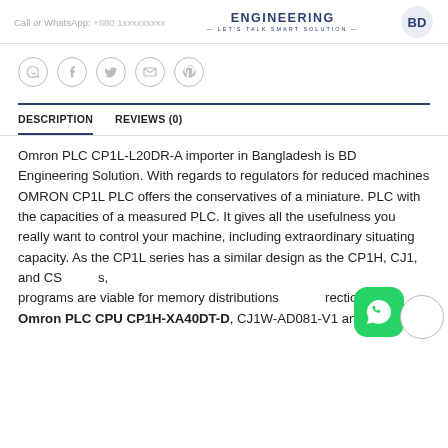Call or WhatsApp: BD ENGINEERING LET'S TALK SMART SOLUTION
[Figure (infographic): Social media share icons: WhatsApp, Facebook, Twitter, Email, Pinterest — all in circular outlines]
DESCRIPTION
REVIEWS (0)
Omron PLC CP1L-L20DR-A importer in Bangladesh is BD Engineering Solution. With regards to regulators for reduced machines OMRON CP1L PLC offers the conservatives of a miniature. PLC with the capacities of a measured PLC. It gives all the usefulness you really want to control your machine, including extraordinary situating capacity. As the CP1L series has a similar design as the CP1H, CJ1, and CS series, programs are viable for memory distributions and directions. Omron PLC CPU CP1H-XA40DT-D, CJ1W-AD081-V1 and